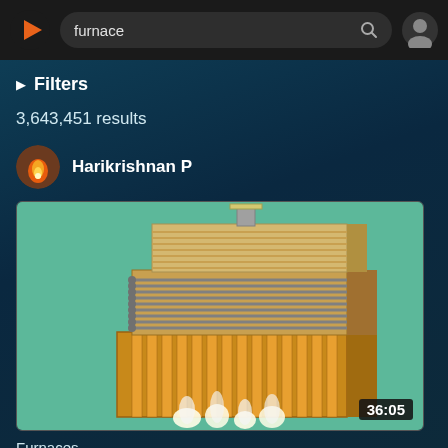[Figure (screenshot): Video platform search interface showing search bar with query 'furnace', filters section, 3,643,451 results count, channel avatar for Harikrishnan P, and a video thumbnail showing a 3D cutaway diagram of an industrial furnace with duration badge 36:05]
furnace
▶ Filters
3,643,451 results
Harikrishnan P
Furnaces